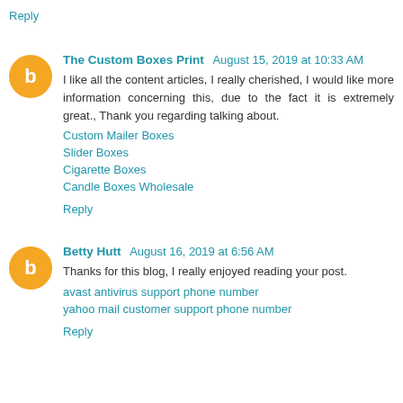Reply
The Custom Boxes Print  August 15, 2019 at 10:33 AM
I like all the content articles, I really cherished, I would like more information concerning this, due to the fact it is extremely great., Thank you regarding talking about.
Custom Mailer Boxes
Slider Boxes
Cigarette Boxes
Candle Boxes Wholesale
Reply
Betty Hutt  August 16, 2019 at 6:56 AM
Thanks for this blog, I really enjoyed reading your post.
avast antivirus support phone number
yahoo mail customer support phone number
Reply